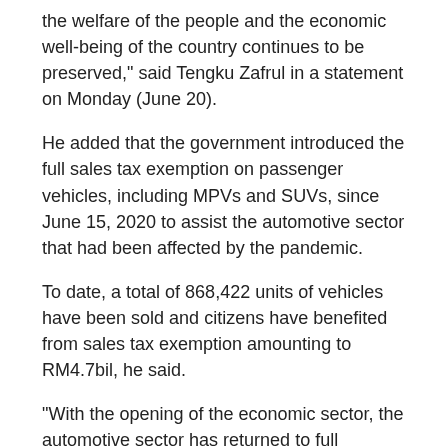the welfare of the people and the economic well-being of the country continues to be preserved," said Tengku Zafrul in a statement on Monday (June 20).
He added that the government introduced the full sales tax exemption on passenger vehicles, including MPVs and SUVs, since June 15, 2020 to assist the automotive sector that had been affected by the pandemic.
To date, a total of 868,422 units of vehicles have been sold and citizens have benefited from sales tax exemption amounting to RM4.7bil, he said.
"With the opening of the economic sector, the automotive sector has returned to full operations.
"However, there are a number of demands that cannot be met in the wake of disruptions to the global supply chain," he said.
Tengku Zafrul said the whole world is facing a shortage of semiconductor microchips, which are widely used across several industries, including the automotive industry.